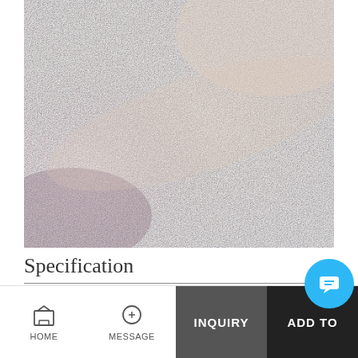[Figure (photo): Close-up macro photograph of a shimmery, textured fabric in rose gold / mauve pink metallic tone, showing fine sparkle and weave texture.]
Specification
INQUIRY   ADD TO